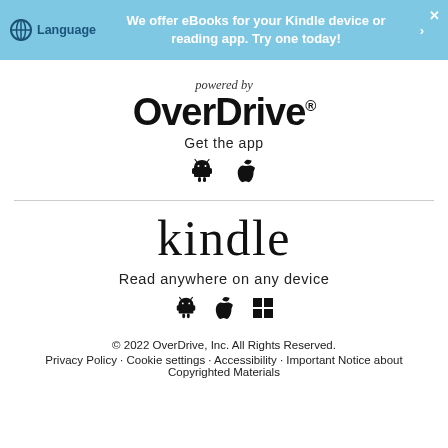We offer eBooks for your Kindle device or reading app. Try one today!
powered by
OverDrive®
Get the app
[Figure (illustration): Android and Apple app store icons]
[Figure (logo): kindle logo]
Read anywhere on any device
[Figure (illustration): Android, Apple, and Windows icons]
© 2022 OverDrive, Inc. All Rights Reserved.
Privacy Policy · Cookie settings · Accessibility · Important Notice about Copyrighted Materials